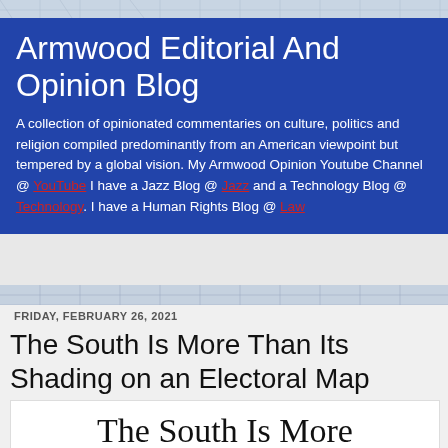Armwood Editorial And Opinion Blog
A collection of opinionated commentaries on culture, politics and religion compiled predominantly from an American viewpoint but tempered by a global vision. My Armwood Opinion Youtube Channel @ YouTube I have a Jazz Blog @ Jazz and a Technology Blog @ Technology. I have a Human Rights Blog @ Law
FRIDAY, FEBRUARY 26, 2021
The South Is More Than Its Shading on an Electoral Map
The South Is More